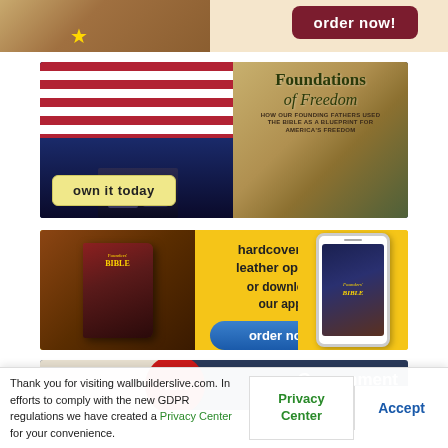[Figure (other): Partial top banner ad with stone monument image and dark red 'order now!' button on beige background]
[Figure (other): Foundations of Freedom ad banner: TV show hosts with American flag on left, book cover 'Foundations of Freedom' on right with 'own it today' yellow button]
[Figure (other): Founder's Bible ad on yellow background: book image on left, 'hardcover and leather options or download our app!' text with blue 'order now!' button in center, phone mockup on right showing Founder's Bible app]
[Figure (other): Partial Government curriculum ad: document image on left, red 'NEW' badge, 'Government' text on dark blue background]
Thank you for visiting wallbuilderslive.com. In efforts to comply with the new GDPR regulations we have created a Privacy Center for your convenience.
Privacy Center
Accept